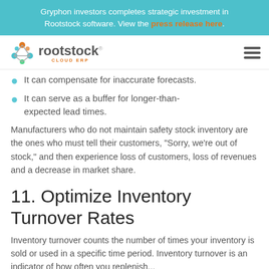Gryphon investors completes strategic investment in Rootstock software. View the press release here.
[Figure (logo): Rootstock Cloud ERP logo with colorful network node icon and hamburger menu icon]
It can compensate for inaccurate forecasts.
It can serve as a buffer for longer-than-expected lead times.
Manufacturers who do not maintain safety stock inventory are the ones who must tell their customers, “Sorry, we’re out of stock,” and then experience loss of customers, loss of revenues and a decrease in market share.
11. Optimize Inventory Turnover Rates
Inventory turnover counts the number of times your inventory is sold or used in a specific time period. Inventory turnover is an indicator of how often you replenish...